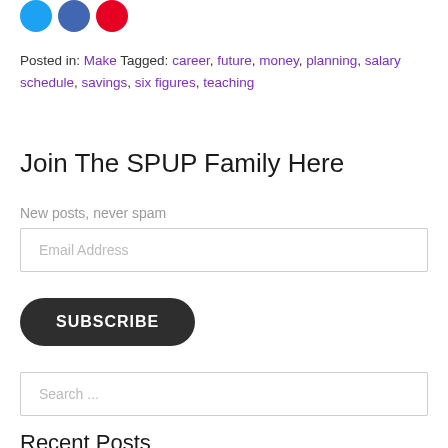[Figure (illustration): Three social media icon circles: Twitter (blue), Facebook (dark blue), Pinterest (red)]
Posted in: Make Tagged: career, future, money, planning, salary schedule, savings, six figures, teaching
Join The SPUP Family Here
New posts, never spam
Email Address
SUBSCRIBE
Search ...
Recent Posts